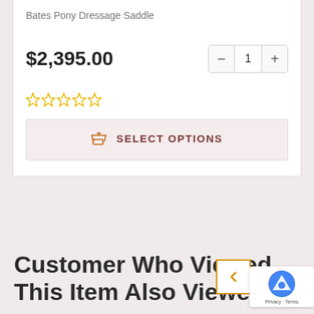Bates Pony Dressage Saddle
$2,395.00
☆☆☆☆☆
SELECT OPTIONS
Customer Who Viewed This Item Also Viewed